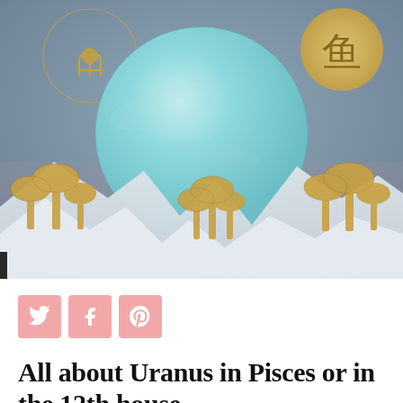[Figure (illustration): Artistic illustration showing a large light-blue planet (Uranus) floating above misty white mountains with golden mushrooms in the foreground. A golden Uranus astrological symbol (circle with a cross and two uprights) appears in the upper left inside a thin circle, and a golden Pisces symbol (two fish characters) appears in the upper right on a golden circle. The background is a muted blue-grey gradient sky.]
[Figure (infographic): Three social sharing buttons side by side: Twitter bird icon, Facebook F icon, and Pinterest P icon, each on a pink/salmon square background.]
All about Uranus in Pisces or in the 12th house